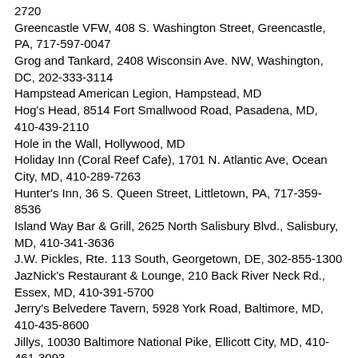2720
Greencastle VFW, 408 S. Washington Street, Greencastle, PA, 717-597-0047
Grog and Tankard, 2408 Wisconsin Ave. NW, Washington, DC, 202-333-3114
Hampstead American Legion, Hampstead, MD
Hog's Head, 8514 Fort Smallwood Road, Pasadena, MD, 410-439-2110
Hole in the Wall, Hollywood, MD
Holiday Inn (Coral Reef Cafe), 1701 N. Atlantic Ave, Ocean City, MD, 410-289-7263
Hunter's Inn, 36 S. Queen Street, Littletown, PA, 717-359-8536
Island Way Bar & Grill, 2625 North Salisbury Blvd., Salisbury, MD, 410-341-3636
J.W. Pickles, Rte. 113 South, Georgetown, DE, 302-855-1300
JazNick's Restaurant & Lounge, 210 Back River Neck Rd., Essex, MD, 410-391-5700
Jerry's Belvedere Tavern, 5928 York Road, Baltimore, MD, 410-435-8600
Jillys, 10030 Baltimore National Pike, Ellicott City, MD, 410-461-3093
Judge's Bench Pub, 8385 Main Street, Ellicott City, MD, 410-465-3497